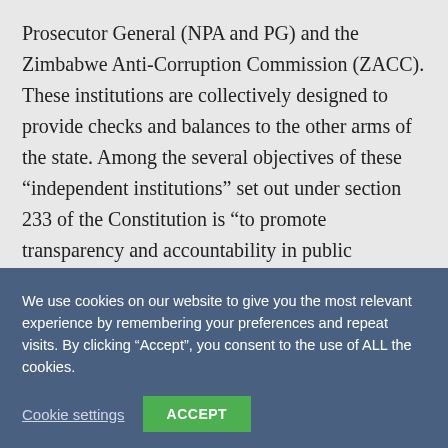Prosecutor General (NPA and PG) and the Zimbabwe Anti-Corruption Commission (ZACC). These institutions are collectively designed to provide checks and balances to the other arms of the state. Among the several objectives of these "independent institutions" set out under section 233 of the Constitution is "to promote transparency and accountability in public institutions" and "to secure the observance of democratic values and
We use cookies on our website to give you the most relevant experience by remembering your preferences and repeat visits. By clicking “Accept”, you consent to the use of ALL the cookies.
Cookie settings
ACCEPT